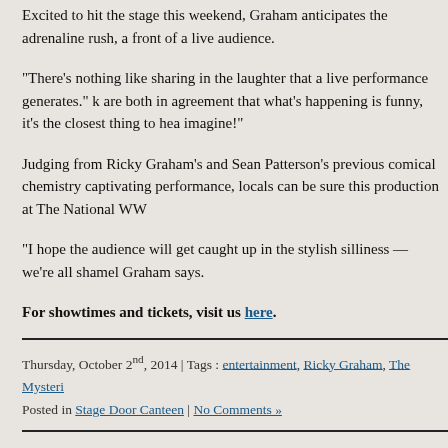Excited to hit the stage this weekend, Graham anticipates the adrenaline rush, a front of a live audience.
“There’s nothing like sharing in the laughter that a live performance generates.” are both in agreement that what’s happening is funny, it’s the closest thing to hea imagine!”
Judging from Ricky Graham’s and Sean Patterson’s previous comical chemistry captivating performance, locals can be sure this production at The National WW
“I hope the audience will get caught up in the stylish silliness — we’re all shamel Graham says.
For showtimes and tickets, visit us here.
Thursday, October 2nd, 2014 | Tags : entertainment, Ricky Graham, The Mysteri
Posted in Stage Door Canteen | No Comments »